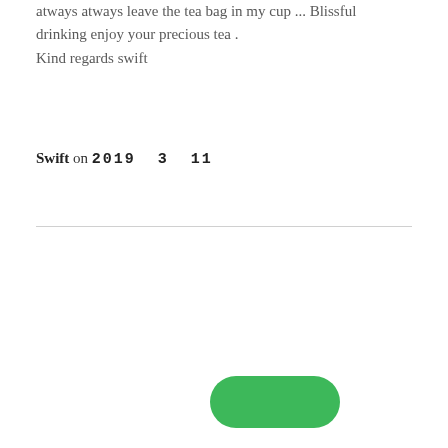atways atways leave the tea bag in my cup ... Blissful drinking enjoy your precious tea .
Kind regards swift
Swift on 2019  3  11
[Figure (screenshot): Three input form fields (light gray rounded rectangles) stacked vertically, followed by a green rounded rectangle submit button with unreadable text (likely Japanese/Chinese characters) positioned to the right.]